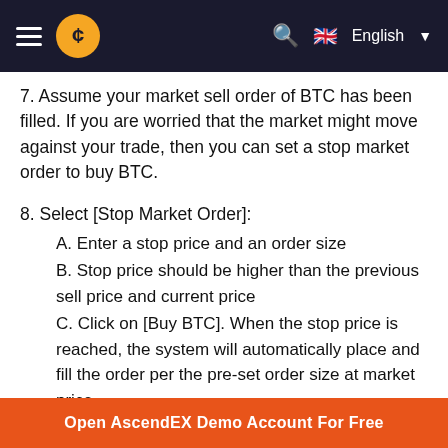AscendEX navigation bar with hamburger menu, logo, search icon, and English language selector
7. Assume your market sell order of BTC has been filled. If you are worried that the market might move against your trade, then you can set a stop market order to buy BTC.
8. Select [Stop Market Order]:
A. Enter a stop price and an order size
B. Stop price should be higher than the previous sell price and current price
C. Click on [Buy BTC]. When the stop price is reached, the system will automatically place and fill the order per the pre-set order size at market price
Open AscendEX Demo Account For Free